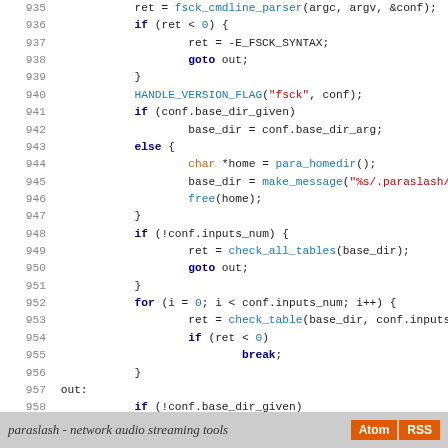[Figure (screenshot): Source code listing in C showing lines 935-963 of a paraslash fsck utility, with syntax highlighting: keywords in bold dark blue, function names in blue, string literals in red, numbers in blue, type names in orange. White background code viewer.]
paraslash - network audio streaming tools  Atom  RSS